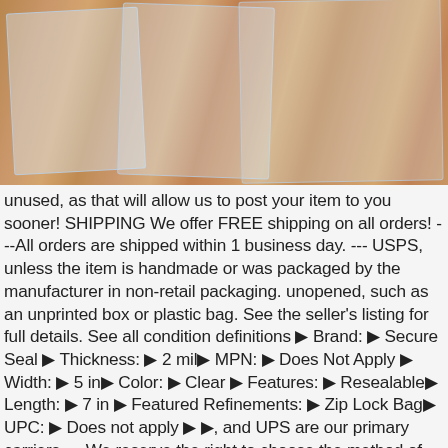[Figure (photo): Photo of clear plastic zip lock bags laid flat on a wooden floor/surface with wood grain visible in warm brown tones.]
unused, as that will allow us to post your item to you sooner! SHIPPING We offer FREE shipping on all orders!  ---All orders are shipped within 1 business day. --- USPS, unless the item is handmade or was packaged by the manufacturer in non-retail packaging. unopened, such as an unprinted box or plastic bag. See the seller's listing for full details. See all condition definitions ▶ Brand: ▶ Secure Seal ▶ Thickness: ▶ 2 mil▶ MPN: ▶ Does Not Apply ▶ Width: ▶ 5 in▶ Color: ▶ Clear ▶ Features: ▶ Resealable▶ Length: ▶ 7 in ▶ Featured Refinements: ▶ Zip Lock Bag▶ UPC: ▶ Does not apply ▶ ▶, and UPS are our primary carriers. ---We reserve the right to choose the method of shipment. ---Customers are responsible for any fees incurred from wrong addresses.. Condition:▶ New: A brand-new. undamaged item in